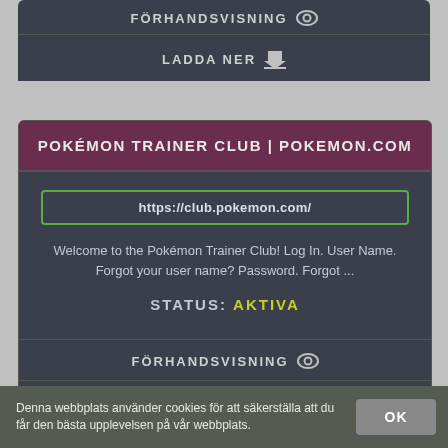FÖRHANDSVISNING
LADDA NER
POKÉMON TRAINER CLUB | POKEMON.COM
https://club.pokemon.com/
Welcome to the Pokémon Trainer Club! Log In. User Name. Forgot your user name? Password. Forgot ...
STATUS: AKTIVA
FÖRHANDSVISNING
LADDA NER
Denna webbplats använder cookies för att säkerställa att du får den bästa upplevelsen på vår webbplats.
OK